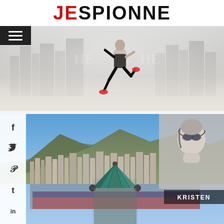JESPIONNE
[Figure (photo): Hero banner image showing a person running/jumping in parkour style over a cityscape background with dramatic lighting]
[Figure (photo): Bottom section showing a panoramic view of Monaco/Monte Carlo with mountains, dense urban buildings, a decorative turret with teal/green roof, and a partial inset image of a woman with goggles. Social media icons on the left sidebar (Facebook, Twitter, Pinterest, Tumblr, LinkedIn). KRISTEN label overlay.]